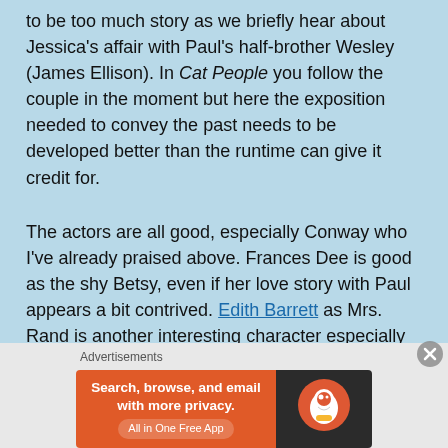to be too much story as we briefly hear about Jessica's affair with Paul's half-brother Wesley (James Ellison).  In Cat People you follow the couple in the moment but here the exposition needed to convey the past needs to be developed better than the runtime can give it credit for.
The actors are all good, especially Conway who I've already praised above.  Frances Dee is good as the shy Betsy, even if her love story with Paul appears a bit contrived.  Edith Barrett as Mrs. Rand is another interesting character especially in the scene where she discusses how voodoo helped her to inspire the people of St. Sebastian to practice proper hygiene.  Ultimately, aside from the title there's nothing scary, especially for a film that concerns voodoo.  Cat
Advertisements
[Figure (other): DuckDuckGo advertisement banner with orange left section reading 'Search, browse, and email with more privacy. All in One Free App' and dark right section with DuckDuckGo logo.]